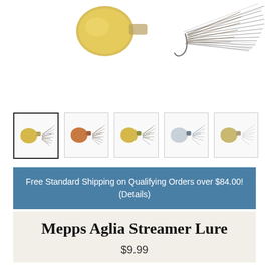[Figure (photo): Close-up of a Mepps Aglia Streamer fishing lure showing gold spinner blade and feathered hook, cropped at top]
[Figure (photo): Thumbnail strip of 5 fishing lure product images showing different color variants of the Mepps Aglia Streamer Lure; first thumbnail is selected with a dark border]
Free Standard Shipping on Qualifying Orders over $84.00! (Details)
Mepps Aglia Streamer Lure
$9.99